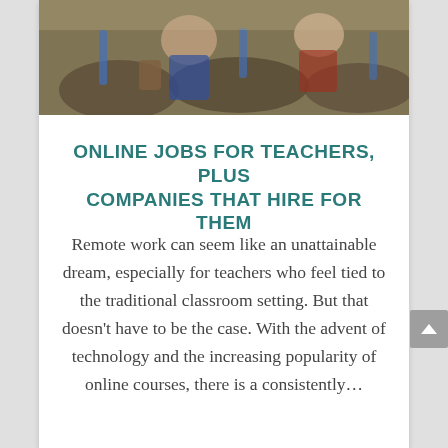[Figure (photo): Partial view of a classroom with students and chairs, cropped photo strip at top of card]
ONLINE JOBS FOR TEACHERS, PLUS COMPANIES THAT HIRE FOR THEM
Remote work can seem like an unattainable dream, especially for teachers who feel tied to the traditional classroom setting. But that doesn't have to be the case. With the advent of technology and the increasing popularity of online courses, there is a consistently…